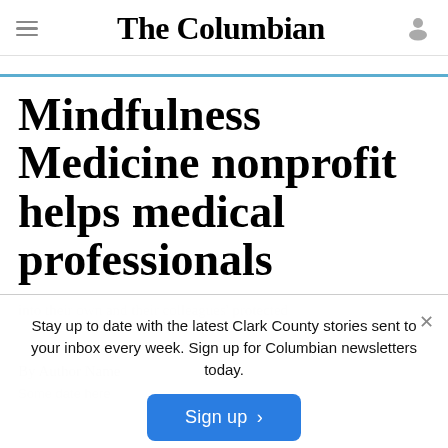The Columbian
Mindfulness Medicine nonprofit helps medical professionals
Stay up to date with the latest Clark County stories sent to your inbox every week. Sign up for Columbian newsletters today.